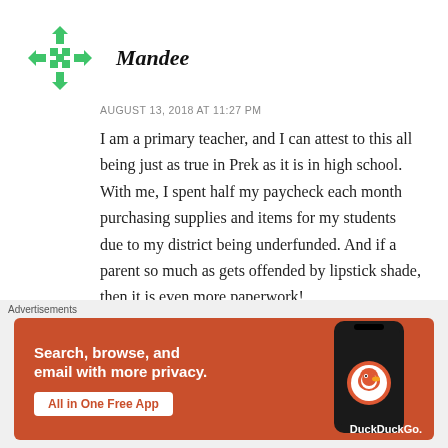[Figure (logo): Green geometric avatar icon made of arrow-like shapes pointing outward in a cross pattern]
Mandee
AUGUST 13, 2018 AT 11:27 PM
I am a primary teacher, and I can attest to this all being just as true in Prek as it is in high school. With me, I spent half my paycheck each month purchasing supplies and items for my students due to my district being underfunded. And if a parent so much as gets offended by lipstick shade, then it is even more paperwork!
Advertisements
[Figure (screenshot): DuckDuckGo advertisement banner with orange background. Text reads: Search, browse, and email with more privacy. All in One Free App. Shows a phone with DuckDuckGo logo.]